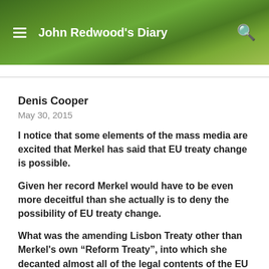John Redwood's Diary
Denis Cooper
May 30, 2015
I notice that some elements of the mass media are excited that Merkel has said that EU treaty change is possible.
Given her record Merkel would have to be even more deceitful than she actually is to deny the possibility of EU treaty change.
What was the amending Lisbon Treaty other than Merkel's own “Reform Treaty”, into which she decanted almost all of the legal contents of the EU Constitution?